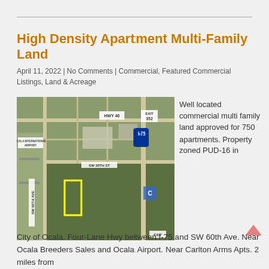High Density Apartment Multi-Family Land
April 11, 2022 | No Comments | Commercial, Featured Commercial Listings, Land & Acreage
[Figure (map): Aerial satellite map showing property location near Ocala International Airport, HWY 40, SW 20th St, SW 60th Ave, and I-75 with yellow rectangle highlighting the subject parcel]
Well located commercial multi family land approved for 750 apartments. Property zoned PUD-16 in
City of Ocala. Four-Lane Hwy between I-75 and SW 60th Ave. Near Ocala Breeders Sales and Ocala Airport. Near Carlton Arms Apts. 2 miles from